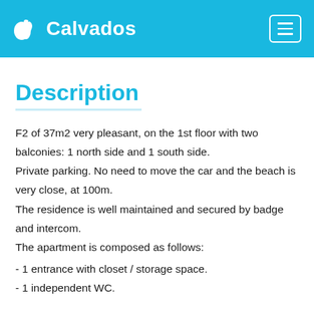Calvados
Description
F2 of 37m2 very pleasant, on the 1st floor with two balconies: 1 north side and 1 south side.
Private parking. No need to move the car and the beach is very close, at 100m.
The residence is well maintained and secured by badge and intercom.
The apartment is composed as follows:
- 1 entrance with closet / storage space.
- 1 independent WC.